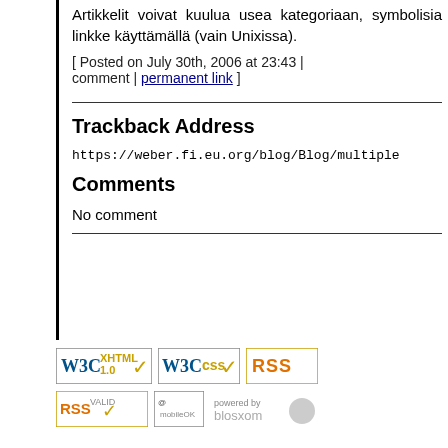Artikkelit voivat kuulua usea kategoriaan, symbolisia linkke käyttämällä (vain Unixissa).
[ Posted on July 30th, 2006 at 23:43 | comment | permanent link ]
Trackback Address
https://weber.fi.eu.org/blog/Blog/multiple
Comments
No comment
[Figure (logo): W3C XHTML 1.0 valid badge]
[Figure (logo): W3C CSS valid badge]
[Figure (logo): RSS badge]
[Figure (logo): RSS valid badge, mobileOK badge, powered by blosxom badge]